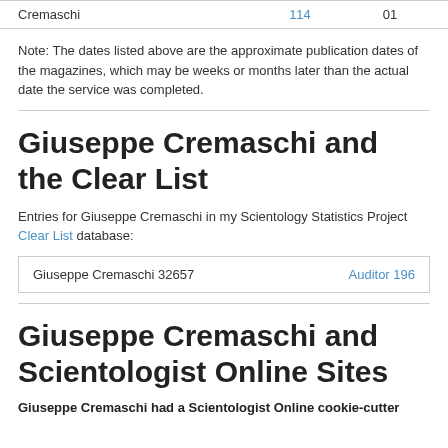|  |  |  |
| --- | --- | --- |
| Cremaschi | 114 | 01 |
Note: The dates listed above are the approximate publication dates of the magazines, which may be weeks or months later than the actual date the service was completed.
Giuseppe Cremaschi and the Clear List
Entries for Giuseppe Cremaschi in my Scientology Statistics Project Clear List database:
| Giuseppe Cremaschi 32657 | Auditor 196 |
Giuseppe Cremaschi and Scientologist Online Sites
Giuseppe Cremaschi had a Scientologist Online cookie-cutter